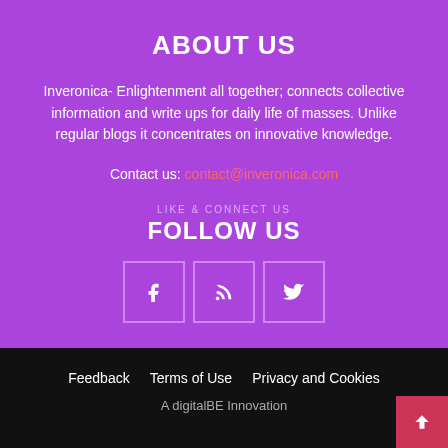ABOUT US
Inveronica- Enlightenment all together; connects collective information and write ups for daily life of masses. Unlike regular blogs it concentrates on innovative knowledge.
Contact us: contact@inveronica.com
FOLLOW US
[Figure (other): Three social media icon boxes: Facebook (f), RSS feed, Twitter (bird icon)]
Feedback   Terms of Use   Privacy and Cookies   A digitalBE Innovation